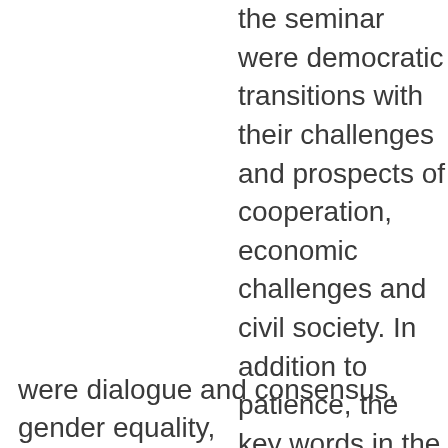the seminar were democratic transitions with their challenges and prospects of cooperation, economic challenges and civil society. In addition to patience, the key words in the presentations of all 18 speakers were dialogue and consensus, gender equality,